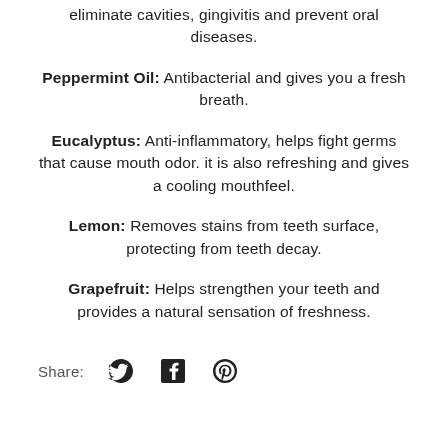eliminate cavities, gingivitis and prevent oral diseases.
Peppermint Oil: Antibacterial and gives you a fresh breath.
Eucalyptus: Anti-inflammatory, helps fight germs that cause mouth odor. it is also refreshing and gives a cooling mouthfeel.
Lemon: Removes stains from teeth surface, protecting from teeth decay.
Grapefruit: Helps strengthen your teeth and provides a natural sensation of freshness.
[Figure (infographic): Share row with Twitter, Facebook, and Pinterest social media icons]